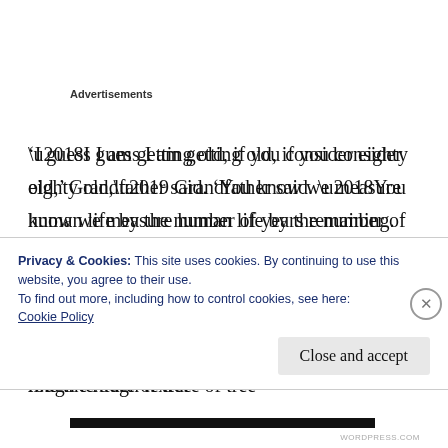Advertisements
‘I guess I am getting old, if you consider eighty old,’ Grandfather said. ‘You know we measure human life by the number of years remaining. Even though that may be true, I still love the feeling of the Earth on my skin. We have switched places, now I’m the one who loves feeling the mud between my toes. I like the rough texture of tree
Privacy & Cookies: This site uses cookies. By continuing to use this website, you agree to their use.
To find out more, including how to control cookies, see here:
Cookie Policy
Close and accept